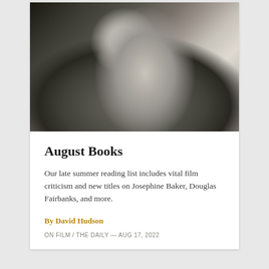[Figure (photo): Black and white portrait photograph of Josephine Baker, smiling, wearing a decorative headpiece with circular ornaments, dramatic makeup, close-up shot from above angle]
August Books
Our late summer reading list includes vital film criticism and new titles on Josephine Baker, Douglas Fairbanks, and more.
By David Hudson
ON FILM / THE DAILY — AUG 17, 2022